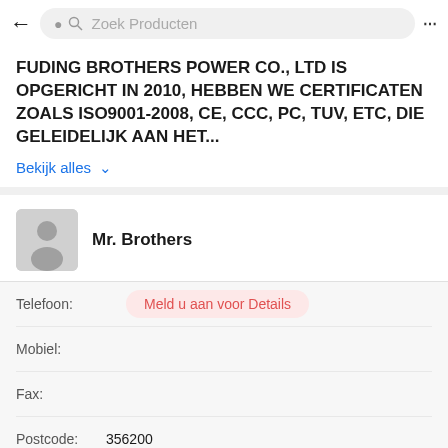← Zoek Producten ...
FUDING BROTHERS POWER CO., LTD IS OPGERICHT IN 2010, HEBBEN WE CERTIFICATEN ZOALS ISO9001-2008, CE, CCC, PC, TUV, ETC, DIE GELEIDELIJK AAN HET...
Bekijk alles ∨
Mr. Brothers
Telefoon:
Mobiel:
Meld u aan voor Details
Fax:
Postcode: 356200